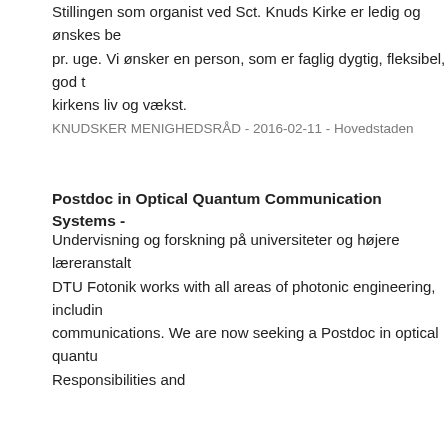Stillingen som organist ved Sct. Knuds Kirke er ledig og ønskes be... pr. uge. Vi ønsker en person, som er faglig dygtig, fleksibel, god t... kirkens liv og vækst.
KNUDSKER MENIGHEDSRÅD - 2016-02-11 - Hovedstaden
Postdoc in Optical Quantum Communication Systems -
Undervisning og forskning på universiteter og højere læreranstalt... DTU Fotonik works with all areas of photonic engineering, includin... communications. We are now seeking a Postdoc in optical quantu... Responsibilities and